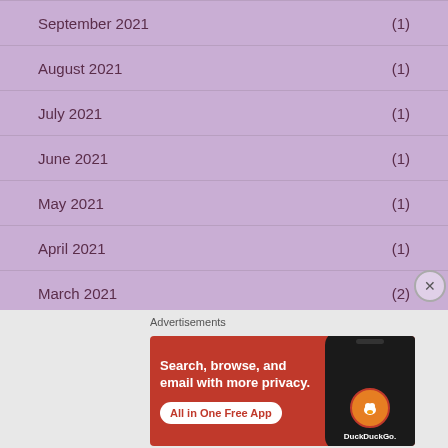September 2021 (1)
August 2021 (1)
July 2021 (1)
June 2021 (1)
May 2021 (1)
April 2021 (1)
March 2021 (2)
[Figure (illustration): DuckDuckGo advertisement banner with orange/red background showing 'Search, browse, and email with more privacy. All in One Free App' text alongside a phone mockup with DuckDuckGo logo]